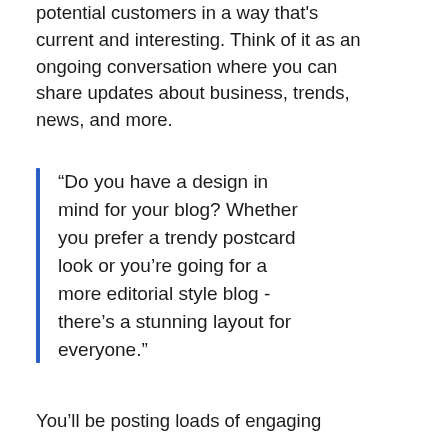potential customers in a way that's current and interesting. Think of it as an ongoing conversation where you can share updates about business, trends, news, and more.
“Do you have a design in mind for your blog? Whether you prefer a trendy postcard look or you’re going for a more editorial style blog - there’s a stunning layout for everyone.”
You’ll be posting loads of engaging